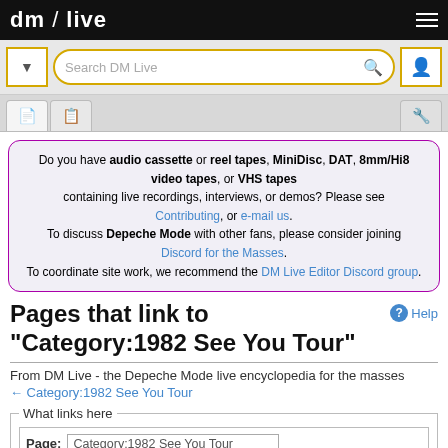dm / live
Do you have audio cassette or reel tapes, MiniDisc, DAT, 8mm/Hi8 video tapes, or VHS tapes containing live recordings, interviews, or demos? Please see Contributing, or e-mail us. To discuss Depeche Mode with other fans, please consider joining Discord for the Masses. To coordinate site work, we recommend the DM Live Editor Discord group.
Pages that link to "Category:1982 See You Tour"
From DM Live - the Depeche Mode live encyclopedia for the masses
← Category:1982 See You Tour
What links here
Page: Category:1982 See You Tour